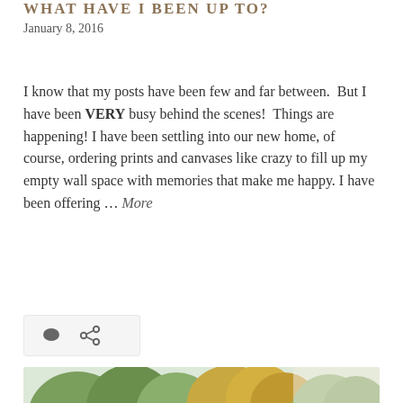WHAT HAVE I BEEN UP TO?
January 8, 2016
I know that my posts have been few and far between.  But I have been VERY busy behind the scenes!  Things are happening! I have been settling into our new home, of course, ordering prints and canvases like crazy to fill up my empty wall space with memories that make me happy. I have been offering … More
[Figure (other): Icon bar with comment bubble icon and share/link icon on a light grey background]
[Figure (photo): Outdoor photo showing trees with autumn foliage and a smiling baby/toddler in blue clothing in the lower right portion of the image]